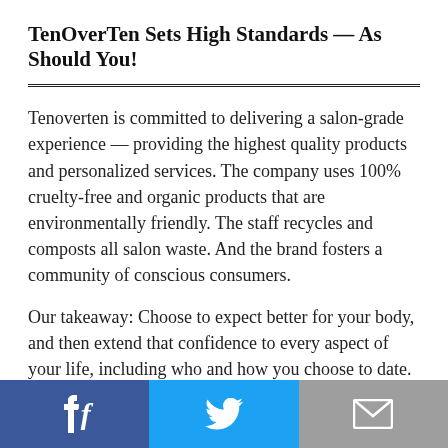TenOverTen Sets High Standards — As Should You!
Tenoverten is committed to delivering a salon-grade experience — providing the highest quality products and personalized services. The company uses 100% cruelty-free and organic products that are environmentally friendly. The staff recycles and composts all salon waste. And the brand fosters a community of conscious consumers.
Our takeaway: Choose to expect better for your body, and then extend that confidence to every aspect of your life, including who and how you choose to date. To the single ladies out there, it's time to get serious about self-care